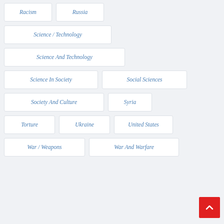Racism
Russia
Science / Technology
Science And Technology
Science In Society
Social Sciences
Society And Culture
Syria
Torture
Ukraine
United States
War / Weapons
War And Warfare